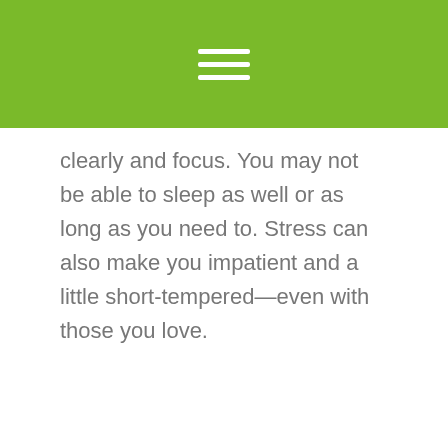[hamburger menu icon]
clearly and focus. You may not be able to sleep as well or as long as you need to. Stress can also make you impatient and a little short-tempered—even with those you love.
Although removing all the sources of